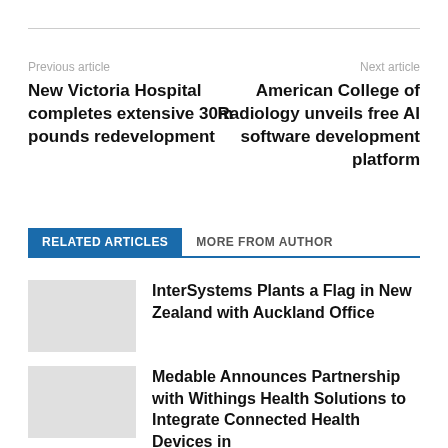Previous article
Next article
New Victoria Hospital completes extensive 30m pounds redevelopment
American College of Radiology unveils free AI software development platform
RELATED ARTICLES
MORE FROM AUTHOR
InterSystems Plants a Flag in New Zealand with Auckland Office
Medable Announces Partnership with Withings Health Solutions to Integrate Connected Health Devices in